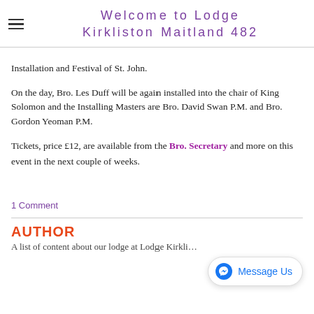Welcome to Lodge Kirkliston Maitland 482
Installation and Festival of St. John.
On the day, Bro. Les Duff will be again installed into the chair of King Solomon and the Installing Masters are Bro. David Swan P.M. and Bro. Gordon Yeoman P.M.
Tickets, price £12, are available from the Bro. Secretary and more on this event in the next couple of weeks.
1 Comment
AUTHOR
A list of content about our lodge at Lodge Kirkli...